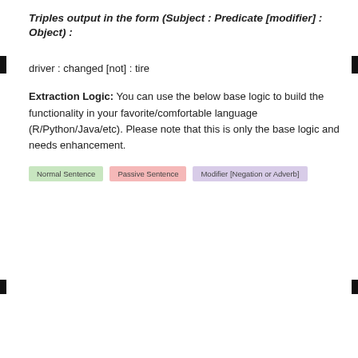Triples output in the form (Subject : Predicate [modifier] : Object) :
driver : changed [not] : tire
Extraction Logic: You can use the below base logic to build the functionality in your favorite/comfortable language (R/Python/Java/etc). Please note that this is only the base logic and needs enhancement.
[Figure (infographic): Three labeled legend items: 'Normal Sentence' (green background), 'Passive Sentence' (pink background), 'Modifier [Negation or Adverb]' (lavender background)]